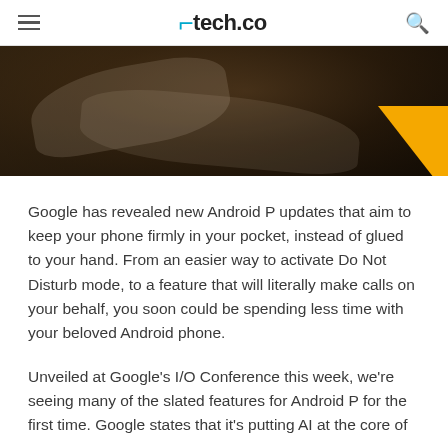tech.co
[Figure (photo): Dark photo of a person in bed with white sheets, partially visible in dim lighting]
Google has revealed new Android P updates that aim to keep your phone firmly in your pocket, instead of glued to your hand. From an easier way to activate Do Not Disturb mode, to a feature that will literally make calls on your behalf, you soon could be spending less time with your beloved Android phone.
Unveiled at Google's I/O Conference this week, we're seeing many of the slated features for Android P for the first time. Google states that it's putting AI at the core of